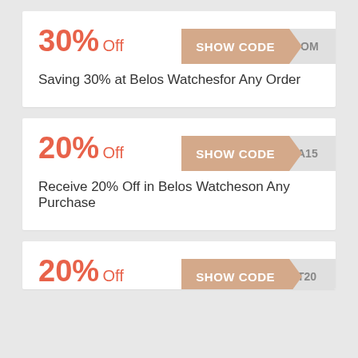30% Off
SHOW CODE   OM
Saving 30% at Belos Watchesfor Any Order
20% Off
SHOW CODE   A15
Receive 20% Off in Belos Watcheson Any Purchase
20% Off
SHOW CODE   T20